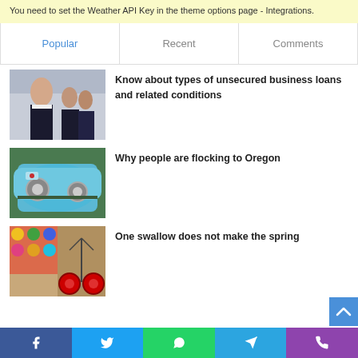You need to set the Weather API Key in the theme options page - Integrations.
| Popular | Recent | Comments |
| --- | --- | --- |
[Figure (photo): Business people in suits, woman with crossed arms in foreground]
Know about types of unsecured business loans and related conditions
[Figure (photo): Vintage blue car front view]
Why people are flocking to Oregon
[Figure (photo): Bicycle with watermelon wheels against colorful wall]
One swallow does not make the spring